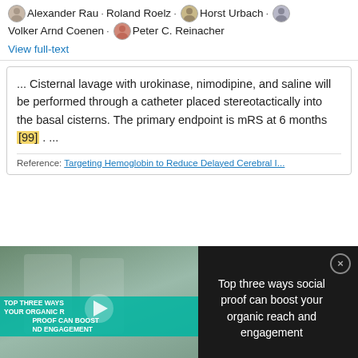Alexander Rau · Roland Roelz · Horst Urbach · Volker Arnd Coenen · Peter C. Reinacher
View full-text
... Cisternal lavage with urokinase, nimodipine, and saline will be performed through a catheter placed stereotactically into the basal cisterns. The primary endpoint is mRS at 6 months [99] . ...
Reference: Targeting Hemoglobin to Reduce Delayed Cerebral I...
[Figure (screenshot): Video overlay with thumbnail of lab researchers in white coats and text 'Top three ways social proof can boost your organic reach and engagement' on dark background]
Citing article
Apr 2021
Roland Roelz · Fabian Schubach · Volker Arnd Coenen · Carolin Jenkner · Peter C. Reinacher
View full-text